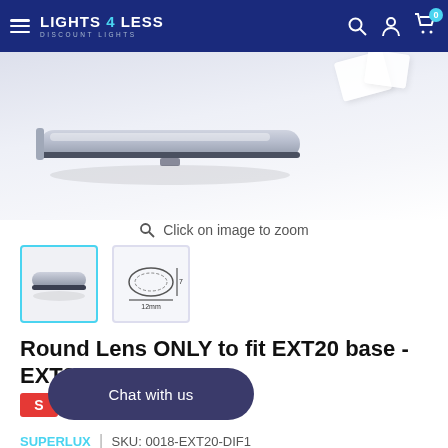LIGHTS 4 LESS – DISCOUNT LIGHTS
[Figure (photo): Product image of an aluminum LED channel/profile with rounded lens, shown on a light grey gradient background. Two white cube-like shapes visible in upper right corner.]
Click on image to zoom
[Figure (photo): Thumbnail 1 (active, teal border): angled view of round LED profile extrusion.]
[Figure (engineering-diagram): Thumbnail 2: technical cross-section diagram of the EXT20 round profile lens, showing dimensions.]
Round Lens ONLY to fit EXT20 base - EXT20_DIF1
Chat with us
S
SUPERLUX   |   SKU: 0018-EXT20-DIF1